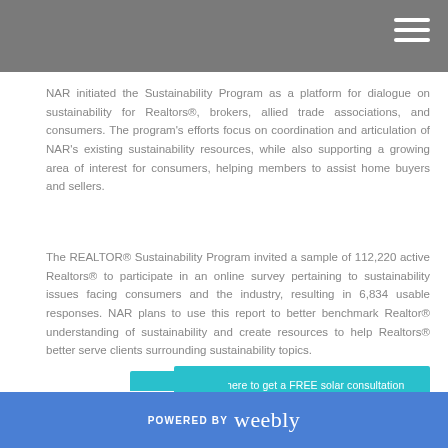NAR initiated the Sustainability Program as a platform for dialogue on sustainability for Realtors®, brokers, allied trade associations, and consumers. The program's efforts focus on coordination and articulation of NAR's existing sustainability resources, while also supporting a growing area of interest for consumers, helping members to assist home buyers and sellers.
The REALTOR® Sustainability Program invited a sample of 112,220 active Realtors® to participate in an online survey pertaining to sustainability issues facing consumers and the industry, resulting in 6,834 usable responses. NAR plans to use this report to better benchmark Realtor® understanding of sustainability and create resources to help Realtors® better serve clients surrounding sustainability topics.
Click here to get a FREE solar consultation
POWERED BY weebly